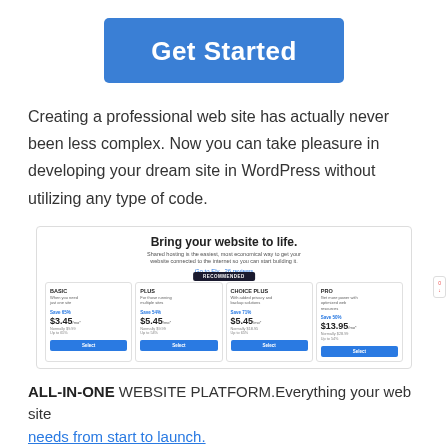Get Started
Creating a professional web site has actually never been less complex. Now you can take pleasure in developing your dream site in WordPress without utilizing any type of code.
[Figure (screenshot): Screenshot of a web hosting pricing page showing 'Bring your website to life.' heading with four pricing plans: BASIC $3.45/mo, PLUS $5.45/mo, CHOICE PLUS $5.45/mo (recommended), and PRO $13.95/mo, each with save percentages and Select buttons.]
ALL-IN-ONE WEBSITE PLATFORM. Everything your web site needs from start to launch.